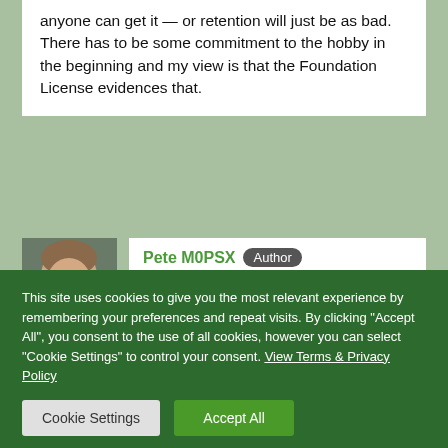anyone can get it — or retention will just be as bad. There has to be some commitment to the hobby in the beginning and my view is that the Foundation License evidences that.
Pete M0PSX Author
15 October 2019
John addresses exactly that question 6'40" into the interview. Central to the proposal is removing the barriers to entry.
This site uses cookies to give you the most relevant experience by remembering your preferences and repeat visits. By clicking "Accept All", you consent to the use of all cookies, however you can select "Cookie Settings" to control your consent. View Terms & Privacy Policy